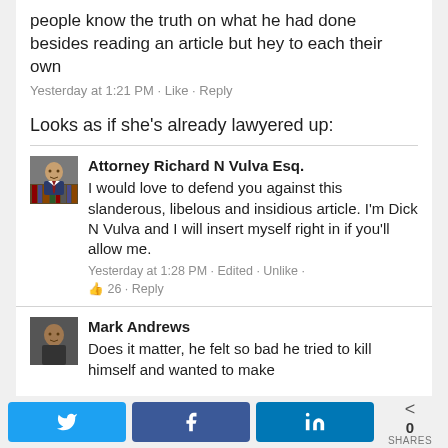people know the truth on what he had done besides reading an article but hey to each their own
Yesterday at 1:21 PM · Like · Reply
Looks as if she's already lawyered up:
Attorney Richard N Vulva Esq. I would love to defend you against this slanderous, libelous and insidious article. I'm Dick N Vulva and I will insert myself right in if you'll allow me.
Yesterday at 1:28 PM · Edited · Unlike · 👍 26 · Reply
Mark Andrews Does it matter, he felt so bad he tried to kill himself and wanted to make
0 SHARES